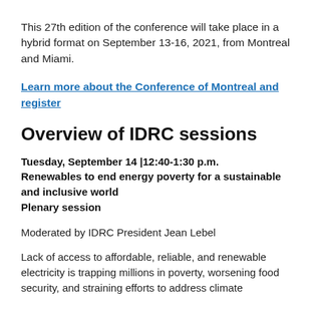This 27th edition of the conference will take place in a hybrid format on September 13-16, 2021, from Montreal and Miami.
Learn more about the Conference of Montreal and register
Overview of IDRC sessions
Tuesday, September 14 |12:40-1:30 p.m.
Renewables to end energy poverty for a sustainable and inclusive world
Plenary session
Moderated by IDRC President Jean Lebel
Lack of access to affordable, reliable, and renewable electricity is trapping millions in poverty, worsening food security, and straining efforts to address climate...